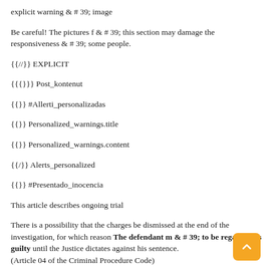explicit warning & # 39; image
Be careful! The pictures f & # 39; this section may damage the responsiveness & # 39; some people.
{{//}} EXPLICIT
{{{}}}} Post_kontenut
{{}} #Allerti_personalizadas
{{}} Personalized_warnings.title
{{}} Personalized_warnings.content
{{/}} Alerts_personalized
{{}} #Presentado_inocencia
This article describes ongoing trial
There is a possibility that the charges be dismissed at the end of the investigation, for which reason The defendant m & # 39; to be regarded as guilty until the Justice dictates against his sentence. (Article 04 of the Criminal Procedure Code)
{{/}} Presumed_in
}} {{# Violenza